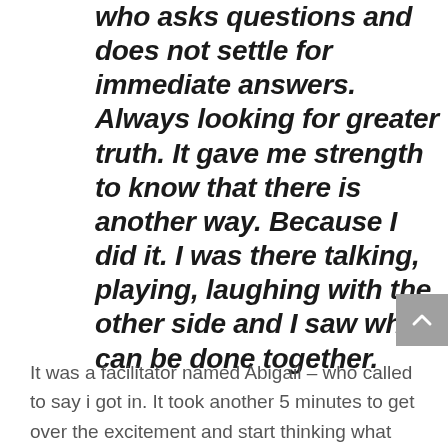who asks questions and does not settle for immediate answers. Always looking for greater truth. It gave me strength to know that there is another way. Because I did it. I was there talking, playing, laughing with the other side and I saw what can be done together.
It was a facilitator named Abigail – who called to say i got in. It took another 5 minutes to get over the excitement and start thinking what will happen.